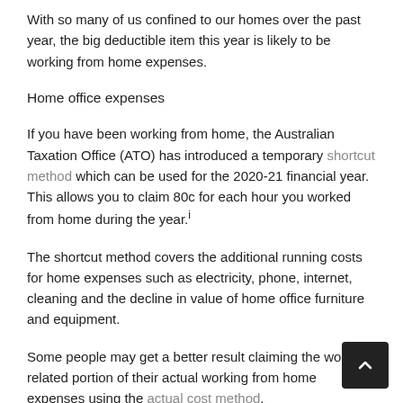With so many of us confined to our homes over the past year, the big deductible item this year is likely to be working from home expenses.
Home office expenses
If you have been working from home, the Australian Taxation Office (ATO) has introduced a temporary shortcut method which can be used for the 2020-21 financial year. This allows you to claim 80c for each hour you worked from home during the year.i
The shortcut method covers the additional running costs for home expenses such as electricity, phone, internet, cleaning and the decline in value of home office furniture and equipment.
Some people may get a better result claiming the work-related portion of their actual working from home expenses using the actual cost method.
Alternatively, if you do have a dedicated home office, you can claim using the fixed rate method. The fixed rate is 52c an hour for every